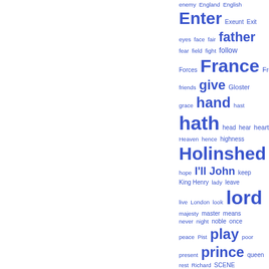[Figure (other): Word cloud / tag cloud showing literary terms and character names in varying sizes (frequency-based) in blue, right half of page. Words include: enemy, England, English, Enter, Exeunt, Exit, eyes, face, fair, father, fear, field, fight, follow, Forces, France, French, friends, give, Gloster, grace, hand, hast, hath, head, hear, heart, Heaven, hence, highness, Holinshed, honor, hope, I'll, John, keep, King Henry, lady, leave, live, London, look, lord, majesty, master, means, never, night, noble, once, peace, Pist, play, poor, present, prince, queen, rest, Richard, SCENE]